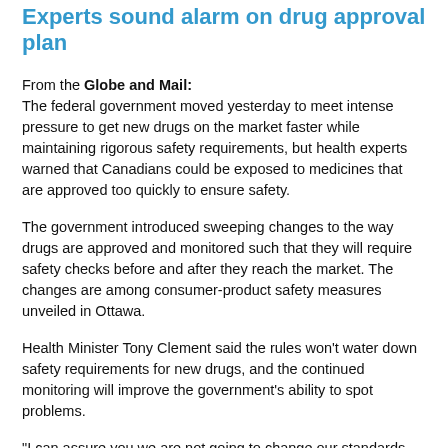Experts sound alarm on drug approval plan
From the Globe and Mail: The federal government moved yesterday to meet intense pressure to get new drugs on the market faster while maintaining rigorous safety requirements, but health experts warned that Canadians could be exposed to medicines that are approved too quickly to ensure safety.
The government introduced sweeping changes to the way drugs are approved and monitored such that they will require safety checks before and after they reach the market. The changes are among consumer-product safety measures unveiled in Ottawa.
Health Minister Tony Clement said the rules won't water down safety requirements for new drugs, and the continued monitoring will improve the government's ability to spot problems.
"I can assure you we are not going to change our standards